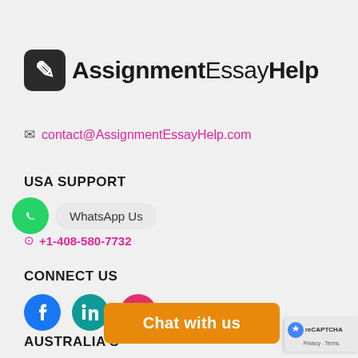[Figure (logo): AssignmentEssayHelp logo with pencil/graduation cap icon and bold text]
contact@AssignmentEssayHelp.com
USA SUPPORT
WhatsApp Us
+1 215-430-5854
+1-408-580-7732
CONNECT US
[Figure (illustration): Facebook, LinkedIn, Instagram social media icons]
AUSTRALIA S
Chat with us